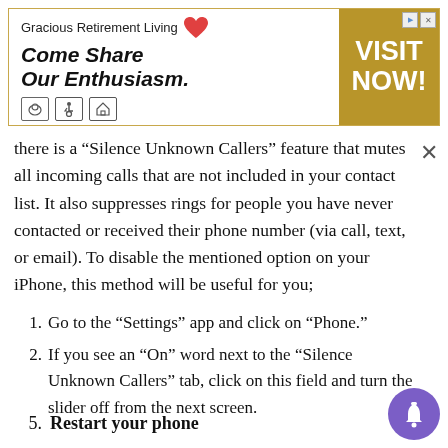[Figure (infographic): Advertisement banner for Gracious Retirement Living with heart logo, tagline 'Come Share Our Enthusiasm.' and 'VISIT NOW!' call-to-action button in gold/tan color.]
there is a “Silence Unknown Callers” feature that mutes all incoming calls that are not included in your contact list. It also suppresses rings for people you have never contacted or received their phone number (via call, text, or email). To disable the mentioned option on your iPhone, this method will be useful for you;
Go to the “Settings” app and click on “Phone.”
If you see an “On” word next to the “Silence Unknown Callers” tab, click on this field and turn the slider off from the next screen.
5.  Restart your phone